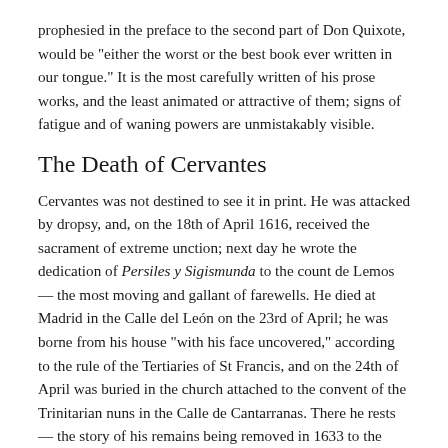prophesied in the preface to the second part of Don Quixote, would be "either the worst or the best book ever written in our tongue." It is the most carefully written of his prose works, and the least animated or attractive of them; signs of fatigue and of waning powers are unmistakably visible.
The Death of Cervantes
Cervantes was not destined to see it in print. He was attacked by dropsy, and, on the 18th of April 1616, received the sacrament of extreme unction; next day he wrote the dedication of Persiles y Sigismunda to the count de Lemos — the most moving and gallant of farewells. He died at Madrid in the Calle del León on the 23rd of April; he was borne from his house "with his face uncovered," according to the rule of the Tertiaries of St Francis, and on the 24th of April was buried in the church attached to the convent of the Trinitarian nuns in the Calle de Cantarranas. There he rests — the story of his remains being removed in 1633 to the Calle del Humilladero has no foundation in fact—but the exact position of his grave is unknown.